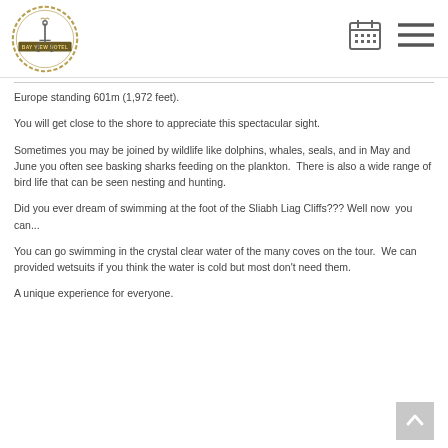Bay View Hotel logo with calendar and menu icons
Europe standing 601m (1,972 feet).
You will get close to the shore to appreciate this spectacular sight.
Sometimes you may be joined by wildlife like dolphins, whales, seals, and in May and June you often see basking sharks feeding on the plankton.  There is also a wide range of bird life that can be seen nesting and hunting.
Did you ever dream of swimming at the foot of the Sliabh Liag Cliffs??? Well now  you can...
You can go swimming in the crystal clear water of the many coves on the tour.  We can provided wetsuits if you think the water is cold but most don't need them.
A unique experience for everyone.